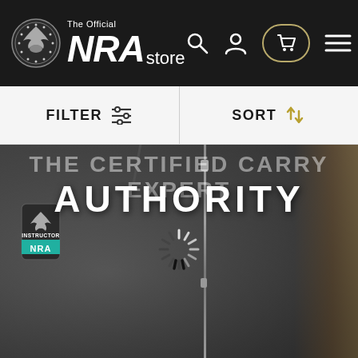[Figure (screenshot): NRA Store website header with dark background, seal logo, NRA store branding, search, user, cart, and menu icons]
FILTER
SORT
[Figure (photo): Dark grey softshell jacket close-up with NRA instructor patch on sleeve, zipper detail, and tan backpack straps visible on right edge. Text overlay reads 'THE CERTIFIED CARRY EXPERT AUTHORITY' with a loading spinner in the center.]